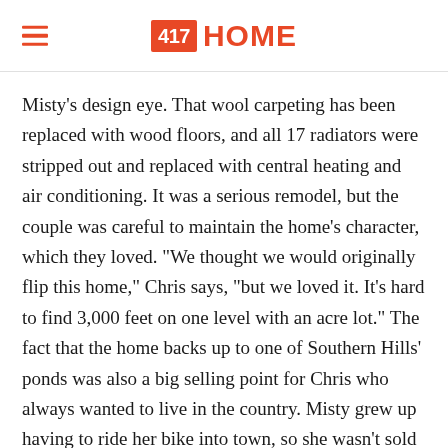417 HOME
Misty’s design eye. That wool carpeting has been replaced with wood floors, and all 17 radiators were stripped out and replaced with central heating and air conditioning. It was a serious remodel, but the couple was careful to maintain the home’s character, which they loved. “We thought we would originally flip this home,” Chris says, “but we loved it. It’s hard to find 3,000 feet on one level with an acre lot.” The fact that the home backs up to one of Southern Hills’ ponds was also a big selling point for Chris who always wanted to live in the country. Misty grew up having to ride her bike into town, so she wasn’t sold on living outside of city limits.